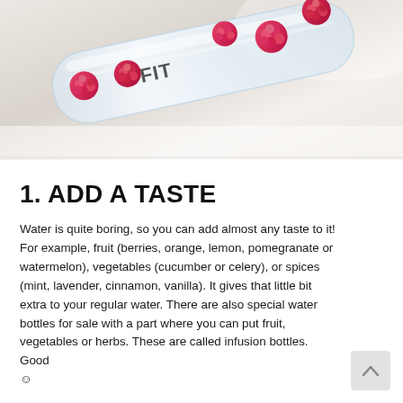[Figure (photo): A close-up photo of a clear glass infusion water bottle with fresh raspberries inside and on top, with a #FIT hashtag visible on the bottle. White and light gray background.]
1. ADD A TASTE
Water is quite boring, so you can add almost any taste to it! For example, fruit (berries, orange, lemon, pomegranate or watermelon), vegetables (cucumber or celery), or spices (mint, lavender, cinnamon, vanilla). It gives that little bit extra to your regular water. There are also special water bottles for sale with a part where you can put fruit, vegetables or herbs. These are called infusion bottles. Good ☺